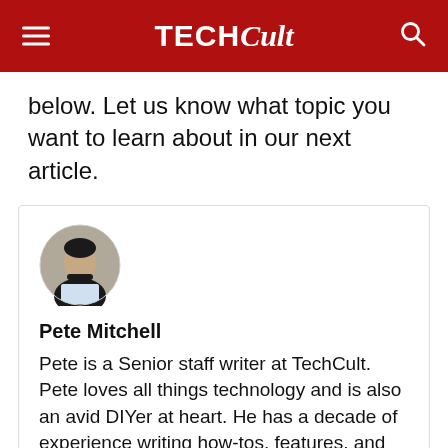TECHCult
below. Let us know what topic you want to learn about in our next article.
[Figure (photo): Circular profile photo of Pete Mitchell, a man in a black t-shirt sitting at a laptop, resting his chin on his hands]
Pete Mitchell
Pete is a Senior staff writer at TechCult. Pete loves all things technology and is also an avid DIYer at heart. He has a decade of experience writing how-tos, features, and technology guides on the